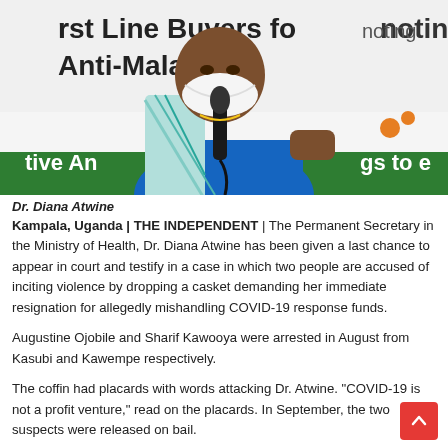[Figure (photo): Dr. Diana Atwine speaking at a podium holding a microphone, wearing a blue top and white face mask, with a banner behind her reading 'First Line Buyers for promoting Anti-Malaria drugs']
Dr. Diana Atwine
Kampala, Uganda | THE INDEPENDENT | The Permanent Secretary in the Ministry of Health, Dr. Diana Atwine has been given a last chance to appear in court and testify in a case in which two people are accused of inciting violence by dropping a casket demanding her immediate resignation for allegedly mishandling COVID-19 response funds.
Augustine Ojobile and Sharif Kawooya were arrested in August from Kasubi and Kawempe respectively.
The coffin had placards with words attacking Dr. Atwine. "COVID-19 is not a profit venture," read on the placards. In September, the two suspects were released on bail.